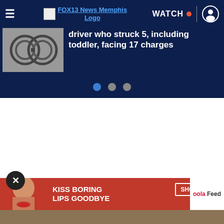FOX13 News Memphis Logo | WATCH
[Figure (screenshot): Handcuffs image in dark blue news hero banner]
driver who struck 5, including toddler, facing 17 charges
Read More
[Figure (photo): Advertisement: KISS BORING LIPS GOODBYE with woman's face, SHOP NOW button, macy's logo, oola Feed]